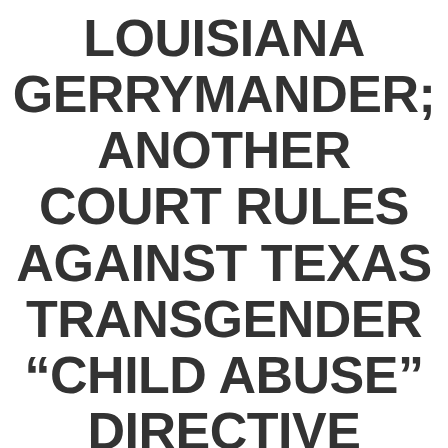LOUISIANA GERRYMANDER; ANOTHER COURT RULES AGAINST TEXAS TRANSGENDER "CHILD ABUSE" DIRECTIVE
rusticgorilla - June 13, 2022 - Uncategorized